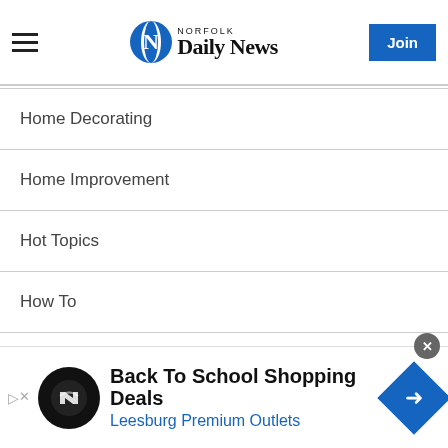Norfolk Daily News — Join
Home Decorating
Home Improvement
Hot Topics
How To
Kitchen, Bed & Bath
Lawn & Garden
Money & Finance
Pets
[Figure (infographic): Advertisement banner: Back To School Shopping Deals — Leesburg Premium Outlets, with circular logo and diamond-shaped arrow icon]